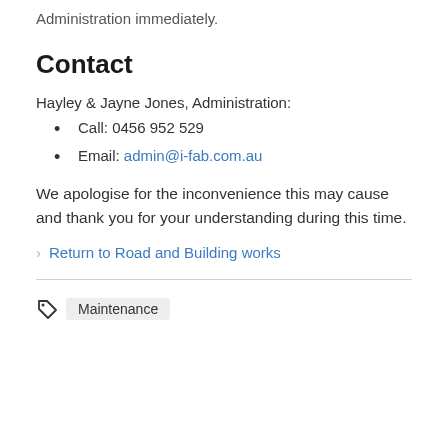Administration immediately.
Contact
Hayley & Jayne Jones, Administration:
Call: 0456 952 529
Email: admin@i-fab.com.au
We apologise for the inconvenience this may cause and thank you for your understanding during this time.
Return to Road and Building works
Maintenance